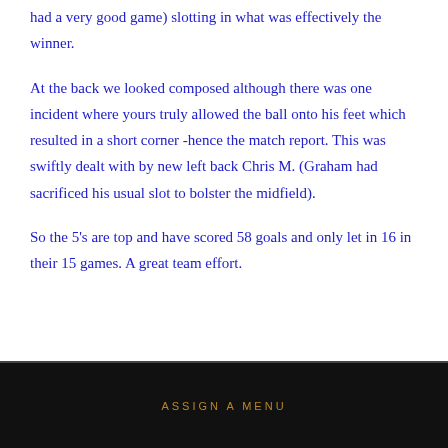had a very good game) slotting in what was effectively the winner.
At the back we looked composed although there was one incident where yours truly allowed the ball onto his feet which resulted in a short corner -hence the match report. This was swiftly dealt with by new left back Chris M. (Graham had sacrificed his usual slot to bolster the midfield).
So the 5's are top and have scored 58 goals and only let in 16 in their 15 games. A great team effort.
ASSIGN A MENU